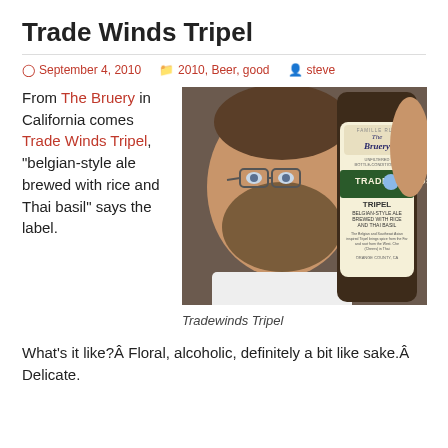Trade Winds Tripel
September 4, 2010   2010, Beer, good   steve
From The Bruery in California comes Trade Winds Tripel, “belgian-style ale brewed with rice and Thai basil” says the label.
[Figure (photo): Photo of a man holding a bottle of Trade Winds Tripel beer by The Bruery, with the bottle label visible showing 'TRIPEL BELGIAN-STYLE ALE BREWED WITH RICE AND THAI BASIL']
Tradewinds Tripel
What’s it like?Â Floral, alcoholic, definitely a bit like sake.Â Delicate.